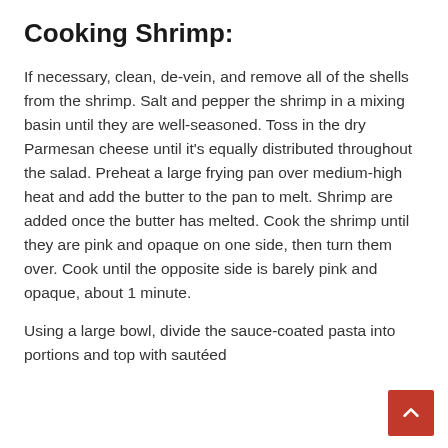Cooking Shrimp:
If necessary, clean, de-vein, and remove all of the shells from the shrimp. Salt and pepper the shrimp in a mixing basin until they are well-seasoned. Toss in the dry Parmesan cheese until it's equally distributed throughout the salad. Preheat a large frying pan over medium-high heat and add the butter to the pan to melt. Shrimp are added once the butter has melted. Cook the shrimp until they are pink and opaque on one side, then turn them over. Cook until the opposite side is barely pink and opaque, about 1 minute.
Using a large bowl, divide the sauce-coated pasta into portions and top with sautéed